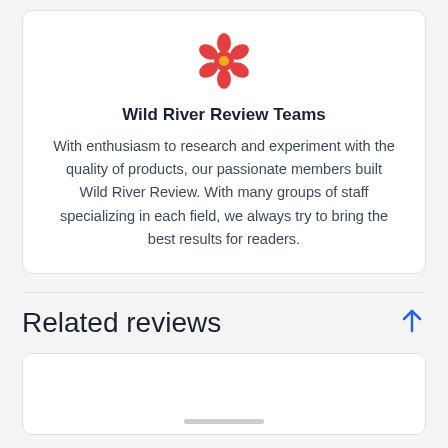[Figure (logo): Red flower/atom-style logo icon with orange center]
Wild River Review Teams
With enthusiasm to research and experiment with the quality of products, our passionate members built Wild River Review. With many groups of staff specializing in each field, we always try to bring the best results for readers.
Related reviews
[Figure (other): White card area with grey bar at bottom, partially visible]